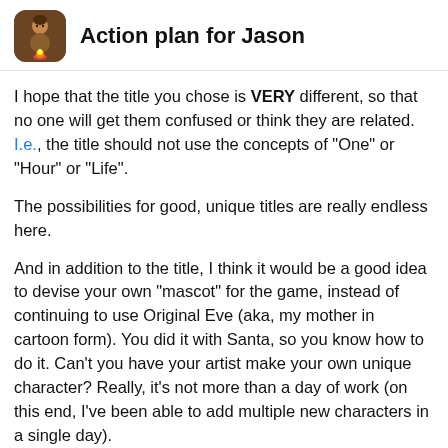Action plan for Jason
I hope that the title you chose is VERY different, so that no one will get them confused or think they are related. I.e., the title should not use the concepts of “One” or “Hour” or “Life”.
The possibilities for good, unique titles are really endless here.
And in addition to the title, I think it would be a good idea to devise your own “mascot” for the game, instead of continuing to use Original Eve (aka, my mother in cartoon form). You did it with Santa, so you know how to do it. Can’t you have your artist make your own unique character? Really, it’s not more than a day of work (on this end, I’ve been able to add multiple new characters in a single day).
And that DD-created character could be used in the tutorials, etc, as the first “face” that new players see when they start up the game. You could trademark that character.
So then you have a uniquely titled game, w icon/mark. It would really look like a differe
6 / 7